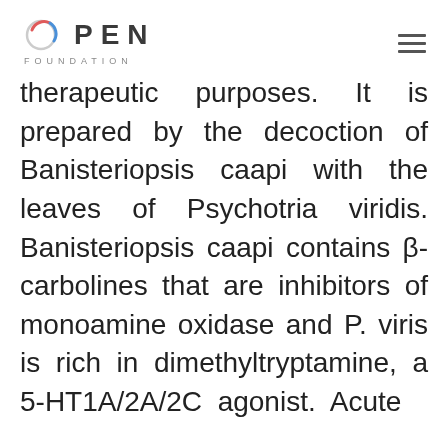OPEN FOUNDATION
therapeutic purposes. It is prepared by the decoction of Banisteriopsis caapi with the leaves of Psychotria viridis. Banisteriopsis caapi contains β-carbolines that are inhibitors of monoamine oxidase and P. viris is rich in dimethyltryptamine, a 5-HT1A/2A/2C agonist. Acute